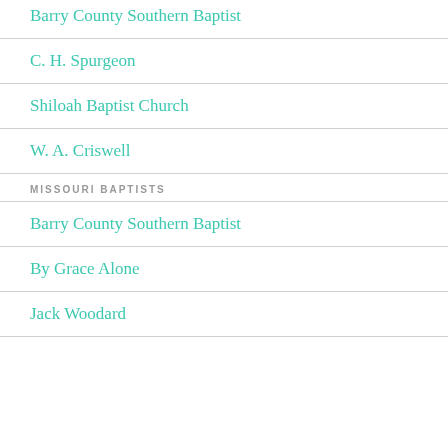Barry County Southern Baptist
C. H. Spurgeon
Shiloah Baptist Church
W. A. Criswell
MISSOURI BAPTISTS
Barry County Southern Baptist
By Grace Alone
Jack Woodard